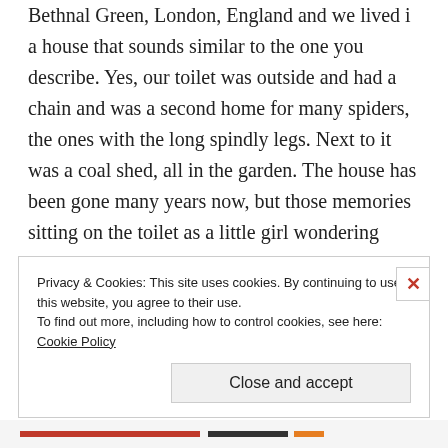Bethnal Green, London, England and we lived i a house that sounds similar to the one you describe. Yes, our toilet was outside and had a chain and was a second home for many spiders, the ones with the long spindly legs. Next to it was a coal shed, all in the garden. The house has been gone many years now, but those memories sitting on the toilet as a little girl wondering what would creep up the wall have remained. Good piece.
Privacy & Cookies: This site uses cookies. By continuing to use this website, you agree to their use.
To find out more, including how to control cookies, see here: Cookie Policy
Close and accept